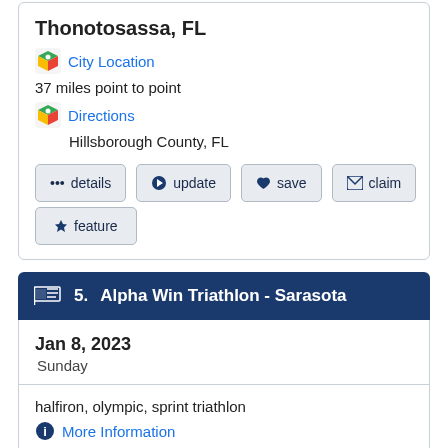Thonotosassa, FL
City Location
37 miles point to point
Directions
Hillsborough County, FL
details
update
save
claim
feature
5. Alpha Win Triathlon - Sarasota
Jan 8, 2023
Sunday
halfiron, olympic, sprint triathlon
More Information
Sarasota, FL